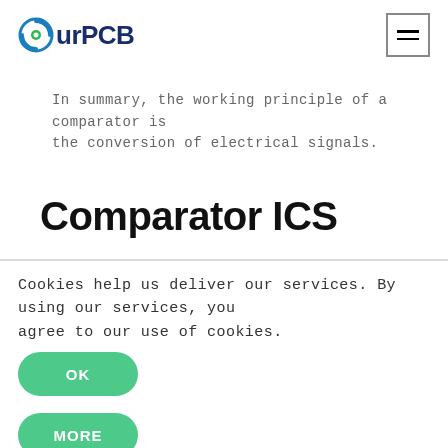OurPCB [logo with hamburger menu]
In summary, the working principle of a comparator is the conversion of electrical signals.
Comparator ICS
Cookies help us deliver our services. By using our services, you agree to our use of cookies.
OK
MORE